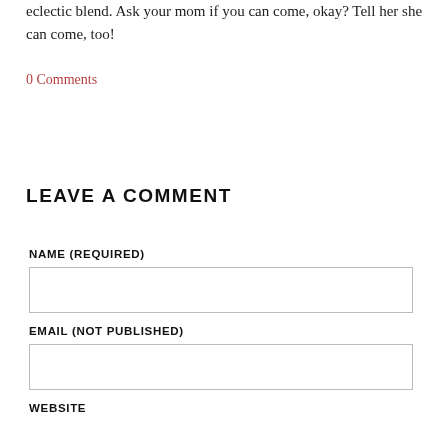eclectic blend. Ask your mom if you can come, okay? Tell her she can come, too!
0 Comments
LEAVE A COMMENT
NAME (REQUIRED)
EMAIL (NOT PUBLISHED)
WEBSITE